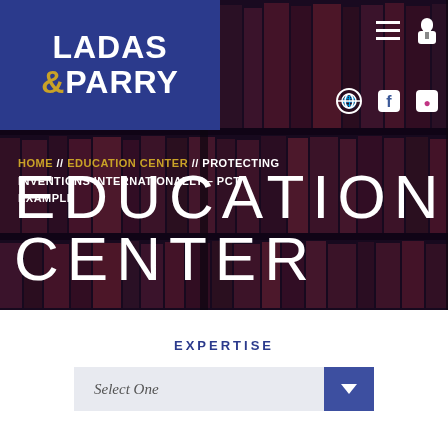[Figure (logo): Ladas & Parry law firm logo — white text on dark blue background, with gold ampersand]
[Figure (photo): Background photo of bookshelves filled with law books in dark purple/brown tones]
HOME // EDUCATION CENTER // PROTECTING INVENTIONS INTERNATIONALLY – PCT EXAMPLE
EDUCATION CENTER
EXPERTISE
Select One